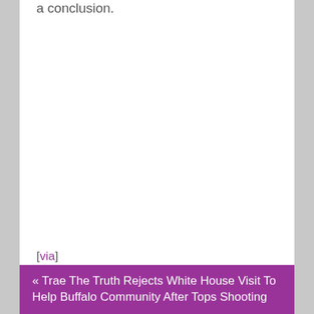a conclusion.
[via]
« Trae The Truth Rejects White House Visit To Help Buffalo Community After Tops Shooting